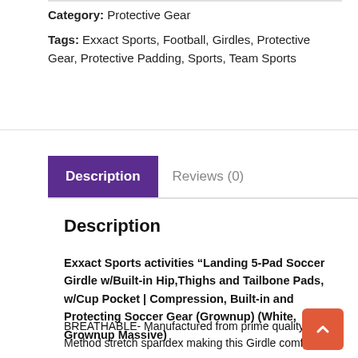Category: Protective Gear
Tags: Exxact Sports, Football, Girdles, Protective Gear, Protective Padding, Sports, Team Sports
Description
Reviews (0)
Description
Exxact Sports activities “Landing 5-Pad Soccer Girdle w/Built-in Hip,Thighs and Tailbone Pads, w/Cup Pocket | Compression, Built-in and Protecting Soccer Gear (Grownup) (White, Grownup Massive)
BREATHABLE- Manufactured from prime quality 4-Method stretch spandex making this Girdle comfy and